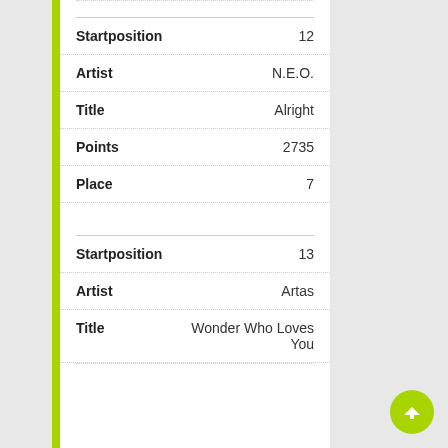| Field | Value |
| --- | --- |
| Startposition | 12 |
| Artist | N.E.O. |
| Title | Alright |
| Points | 2735 |
| Place | 7 |
| Field | Value |
| --- | --- |
| Startposition | 13 |
| Artist | Artas |
| Title | Wonder Who Loves You |